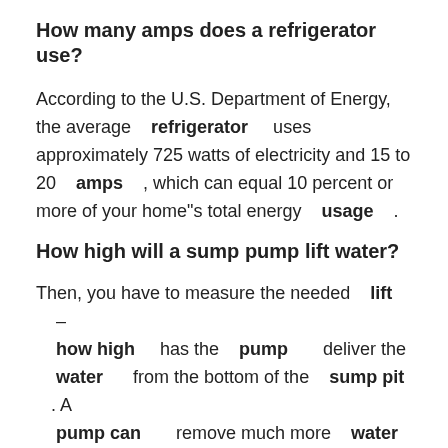How many amps does a refrigerator use?
According to the U.S. Department of Energy, the average refrigerator uses approximately 725 watts of electricity and 15 to 20 amps , which can equal 10 percent or more of your home"s total energy usage .
How high will a sump pump lift water?
Then, you have to measure the needed lift – how high has the pump deliver the water from the bottom of the sump pit . A pump can remove much more water at a 5-ft "head pressure" ( lift ) than if has to pump 10 feet high .
Can you run a well without a pressure tank?